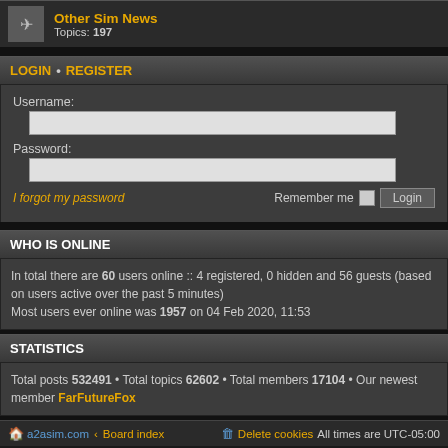Other Sim News Topics: 197
LOGIN • REGISTER
Username:
Password:
I forgot my password
Remember me  Login
WHO IS ONLINE
In total there are 60 users online :: 4 registered, 0 hidden and 56 guests (based on users active over the past 5 minutes) Most users ever online was 1957 on 04 Feb 2020, 11:53
STATISTICS
Total posts 532491 • Total topics 62602 • Total members 17104 • Our newest member FarFutureFox
a2asim.com ‹ Board index  Delete cookies  All times are UTC-05:00
Powered by phpBB® Forum Software © phpBB Limited | SE Square Left by PhpBB3 BBCodes